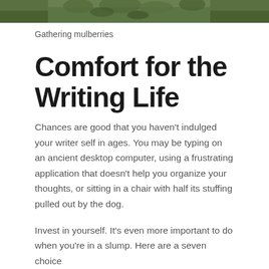[Figure (photo): Partial view of a photo showing green foliage/trees, cropped at top of page]
Gathering mulberries
Comfort for the Writing Life
Chances are good that you haven't indulged your writer self in ages. You may be typing on an ancient desktop computer, using a frustrating application that doesn't help you organize your thoughts, or sitting in a chair with half its stuffing pulled out by the dog.
Invest in yourself. It's even more important to do when you're in a slump. Here are a seven choice